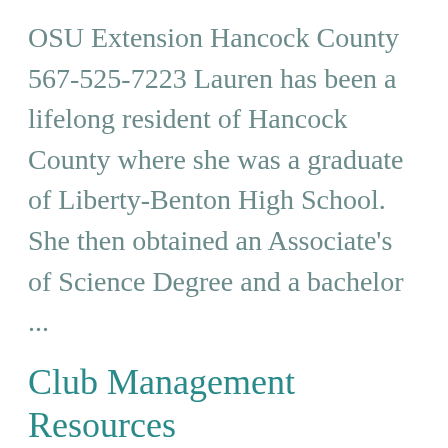OSU Extension Hancock County 567-525-7223 Lauren has been a lifelong resident of Hancock County where she was a graduate of Liberty-Benton High School. She then obtained an Associate's of Science Degree and a bachelor ...
Club Management Resources
https://medina.osu.edu/program-areas/4-h-youth-development/club-management-resources
End-of-Year Club Report Forms Due Jan 31 4-H Club Information Survey Club/Group Activities Form  4-H Club/Affiliate Yearly Financial Summary 4-H Club/Affiliate Equipment Inventory